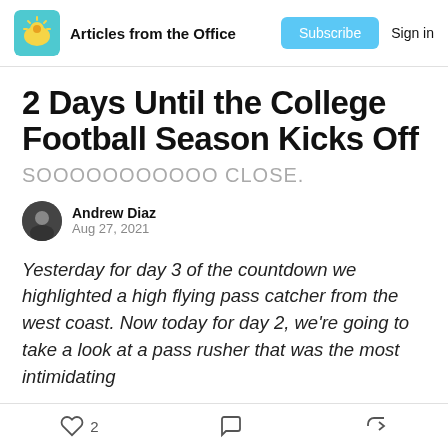Articles from the Office
2 Days Until the College Football Season Kicks Off
SOOOOOOOOOOO CLOSE.
Andrew Diaz
Aug 27, 2021
Yesterday for day 3 of the countdown we highlighted a high flying pass catcher from the west coast. Now today for day 2, we're going to take a look at a pass rusher that was the most intimidating
2 likes · comments · share